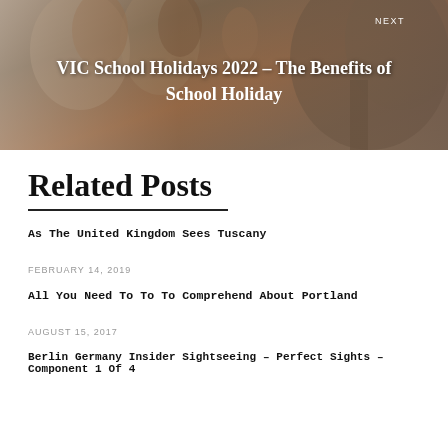[Figure (photo): Hero image showing children playing outdoors with trees in background, overlaid with text 'NEXT' and article title]
Related Posts
As The United Kingdom Sees Tuscany
FEBRUARY 14, 2019
All You Need To To To Comprehend About Portland
AUGUST 15, 2017
Berlin Germany Insider Sightseeing – Perfect Sights – Component 1 Of 4